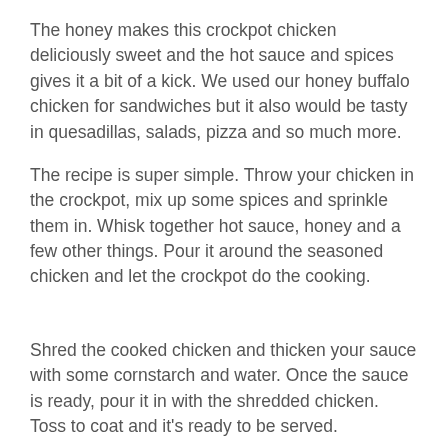The honey makes this crockpot chicken deliciously sweet and the hot sauce and spices gives it a bit of a kick.  We used our honey buffalo chicken for sandwiches but it also would be tasty in quesadillas, salads, pizza and so much more.
The recipe is super simple. Throw your chicken in the crockpot, mix up some spices and sprinkle them in. Whisk together hot sauce, honey and a few other things. Pour it around the seasoned chicken and let the crockpot do the cooking.
Shred the cooked chicken and thicken your sauce with some cornstarch and water.  Once the sauce is ready, pour it in with the shredded chicken. Toss to coat and it's ready to be served.